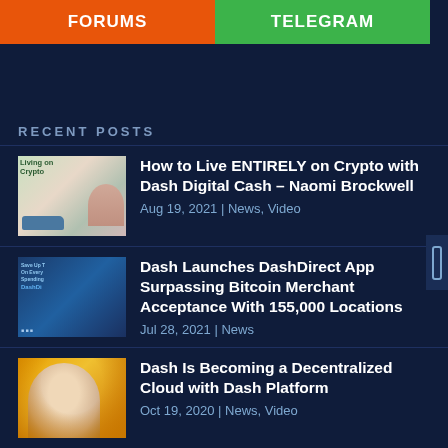FORUMS
TELEGRAM
RECENT POSTS
[Figure (photo): Thumbnail for Living on Crypto article]
How to Live ENTIRELY on Crypto with Dash Digital Cash – Naomi Brockwell
Aug 19, 2021 | News, Video
[Figure (photo): Thumbnail for DashDirect App article]
Dash Launches DashDirect App Surpassing Bitcoin Merchant Acceptance With 155,000 Locations
Jul 28, 2021 | News
[Figure (photo): Thumbnail for Dash Platform article showing person on yellow background]
Dash Is Becoming a Decentralized Cloud with Dash Platform
Oct 19, 2020 | News, Video